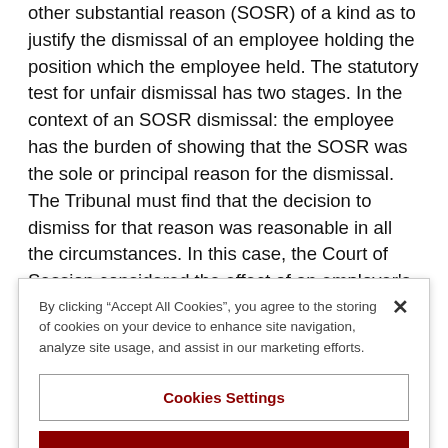other substantial reason (SOSR) of a kind as to justify the dismissal of an employee holding the position which the employee held. The statutory test for unfair dismissal has two stages. In the context of an SOSR dismissal: the employee has the burden of showing that the SOSR was the sole or principal reason for the dismissal. The Tribunal must find that the decision to dismiss for that reason was reasonable in all the circumstances. In this case, the Court of Session considered the effect of an employer's ignorance of the legal consequences of its actions, when it
By clicking "Accept All Cookies", you agree to the storing of cookies on your device to enhance site navigation, analyze site usage, and assist in our marketing efforts.
Cookies Settings
Reject All